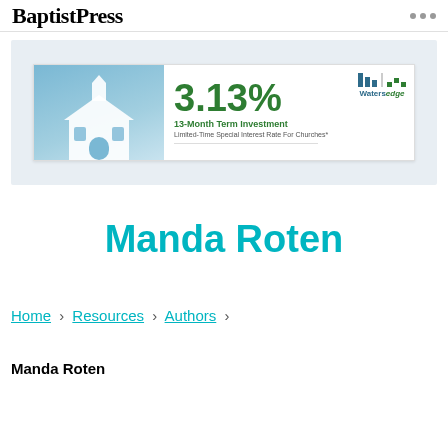BaptistPress
[Figure (infographic): Advertisement banner for WatersEdge 3.13% 13-Month Term Investment, Limited-Time Special Interest Rate For Churches, with church illustration on blue background]
Manda Roten
Home › Resources › Authors ›
Manda Roten